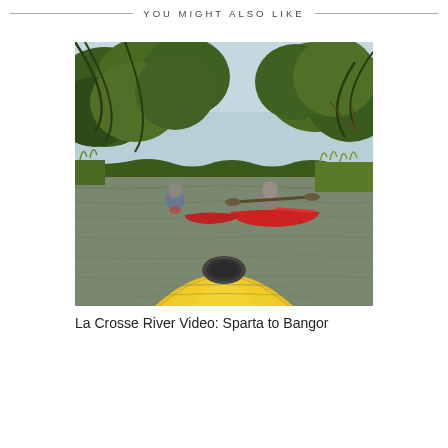YOU MIGHT ALSO LIKE
[Figure (photo): Kayaking scene on a river: foreground shows the bow of a yellow kayak with a GoPro/camera mount, ahead are two people in red kayaks paddling through a tree-lined river with lush green vegetation on both banks.]
La Crosse River Video: Sparta to Bangor